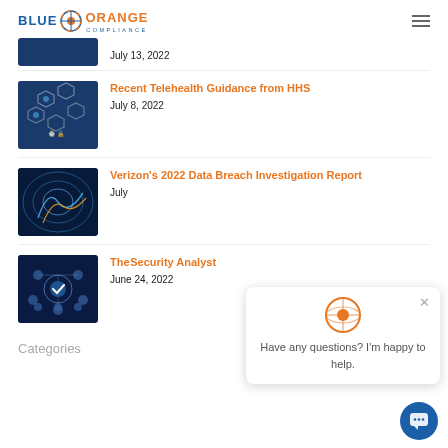BLUE ORANGE COMPLIANCE
July 13, 2022
Recent Telehealth Guidance from HHS
July 8, 2022
Verizon's 2022 Data Breach Investigation Report
July
The… Security Analyst
June 24, 2022
Categories